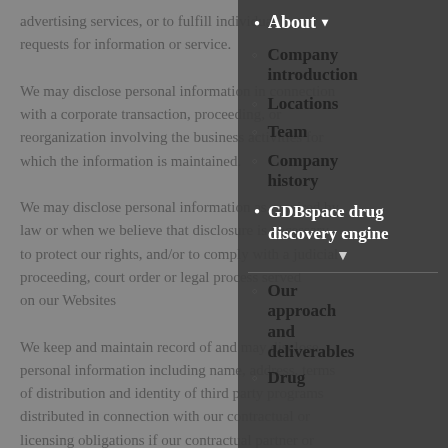advertising services, or to fulfill individual requests for information or service.
We may disclose personal information in connection with a corporate transaction, proceeding, or reorganization involving the business activities for which the information is maintained.
We may disclose personal information as required by law or when we believe that disclosure is necessary to protect our rights, and/or to comply with a judicial proceeding, court order or legal process served on our Websites
We keep and maintain record of and may disclose personal information including name, address, terms of distribution and identity of third party programs distributed in connection with our contractual or licensing obligations if our contractual partner or licensor requires us to do so in order to
[Figure (screenshot): A dropdown navigation overlay showing: 'About' menu item with bullet and arrow, sub-items including 'Company introduction', 'Locations', 'Team', 'Company history', then 'GDBspace drug discovery engine' with expand arrow, then 'Our approach and deliverables', 'Drug' (partially visible)]